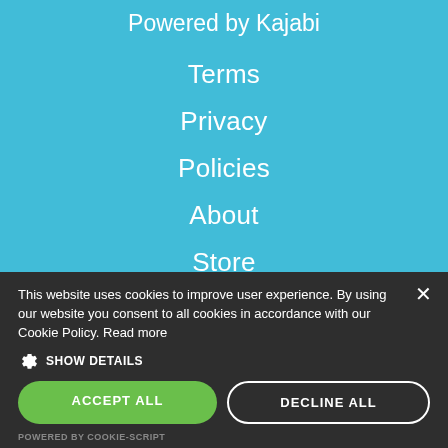Powered by Kajabi
Terms
Privacy
Policies
About
Store
This website uses cookies to improve user experience. By using our website you consent to all cookies in accordance with our Cookie Policy. Read more
SHOW DETAILS
ACCEPT ALL
DECLINE ALL
POWERED BY COOKIE-SCRIPT